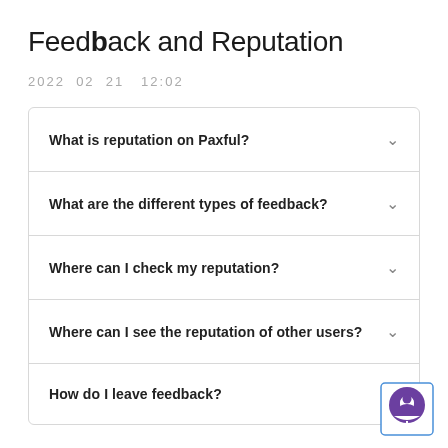Feedback and Reputation
2022  02  21   12:02
What is reputation on Paxful?
What are the different types of feedback?
Where can I check my reputation?
Where can I see the reputation of other users?
How do I leave feedback?